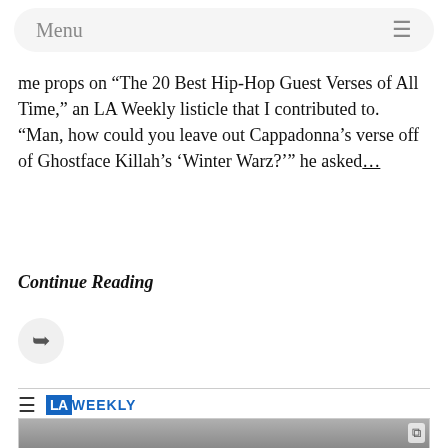Menu ≡
me props on “The 20 Best Hip-Hop Guest Verses of All Time,” an LA Weekly listicle that I contributed to. “Man, how could you leave out Cappadonna’s verse off of Ghostface Killah’s ‘Winter Warz?’” he asked...
Continue Reading
[Figure (other): Share/forward button icon in a circular grey background]
≡ LA WEEKLY
[Figure (photo): Black and white photograph of a group of people, partially visible at the bottom of the page, appears to be a music group]